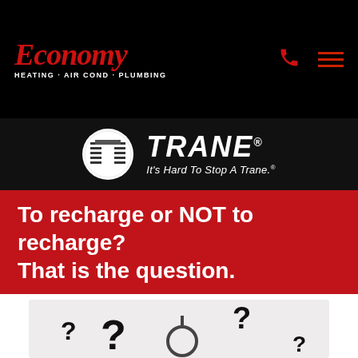Economy Heating · Air Cond · Plumbing
[Figure (logo): Trane logo with circular striped emblem and slogan: It's Hard To Stop A Trane.]
To recharge or NOT to recharge? That is the question.
[Figure (illustration): Illustration showing multiple black question mark symbols of various sizes on a light background.]